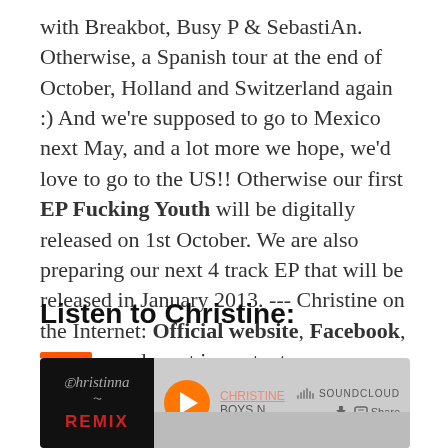with Breakbot, Busy P & SebastiAn. Otherwise, a Spanish tour at the end of October, Holland and Switzerland again :) And we're supposed to go to Mexico next May, and a lot more we hope, we'd love to go to the US!! Otherwise our first EP Fucking Youth will be digitally released on 1st October. We are also preparing our next 4 track EP that will be released in January 2013. --- Christine on the Internet: Official website, Facebook, Twitter and most important on Soundcloud
Listen to Christine:
[Figure (screenshot): SoundCloud embedded player showing Christine - BOYS N... remix track with album art (black background with Christine logo and REMIX text in red), orange play button, download and share buttons, SoundCloud branding]